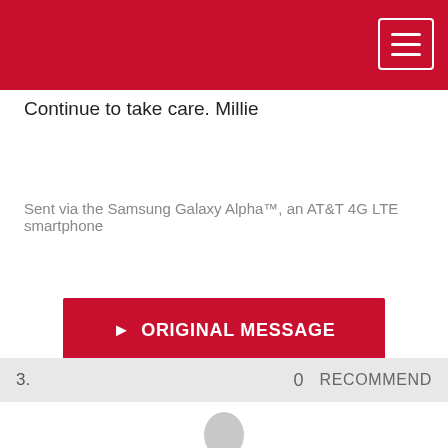Continue to take care. Millie
Sent via the Samsung Galaxy Alpha™, an AT&T 4G LTE smartphone
▶ ORIGINAL MESSAGE
3.   0   RECOMMEND
[Figure (illustration): User profile avatar placeholder icon (grey silhouette)]